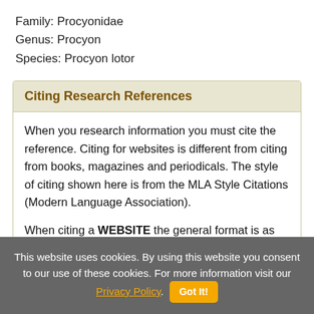Family: Procyonidae
Genus: Procyon
Species: Procyon lotor
Citing Research References
When you research information you must cite the reference. Citing for websites is different from citing from books, magazines and periodicals. The style of citing shown here is from the MLA Style Citations (Modern Language Association).
When citing a WEBSITE the general format is as follows.
Author Last Name, First Name(s). "Title: Subtitle of
This website uses cookies. By using this website you consent to our use of these cookies. For more information visit our Privacy Policy. Got It!